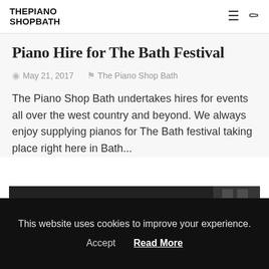THE PIANO SHOP BATH
Piano Hire for The Bath Festival
May 21, 2017   The Piano Shop Bath
The Piano Shop Bath undertakes hires for events all over the west country and beyond. We always enjoy supplying pianos for The Bath festival taking place right here in Bath...
[Figure (photo): Dark/black image preview of a piano or festival-related photo]
This website uses cookies to improve your experience. Accept  Read More